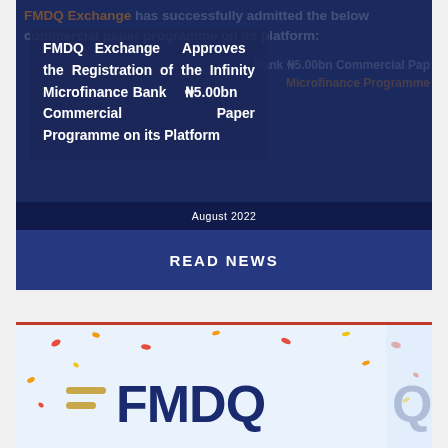[Figure (photo): Dark navy blue card with background text overlay reading 'FMDQ Exchange has successfully admitted the below commercial paper programme on its platform:' and a semi-transparent overlay box containing the article title. Date shown at bottom: August 2022.]
FMDQ Exchange Approves the Registration of the Infinity Microfinance Bank ₦5.00bn Commercial Paper Programme on its Platform
READ NEWS
[Figure (logo): FMDQ logo on a light background with colourful confetti decoration. The logo shows '=FMDQ' in dark blue with horizontal lines to the left.]